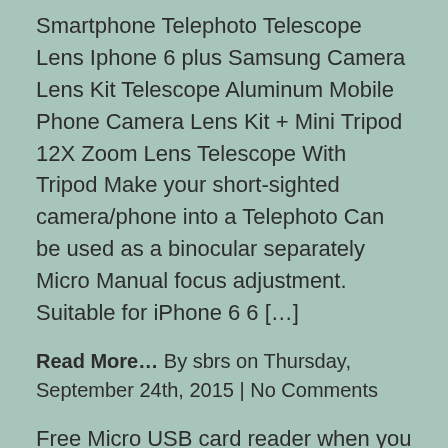Smartphone Telephoto Telescope Lens Iphone 6 plus Samsung Camera Lens Kit Telescope Aluminum Mobile Phone Camera Lens Kit + Mini Tripod 12X Zoom Lens Telescope With Tripod Make your short-sighted camera/phone into a Telephoto Can be used as a binocular separately Micro Manual focus adjustment. Suitable for iPhone 6 6 […]
Read More… By sbrs on Thursday, September 24th, 2015 | No Comments
Free Micro USB card reader when you buy a 4GB Micro Class 6 SD SDHC High Speed